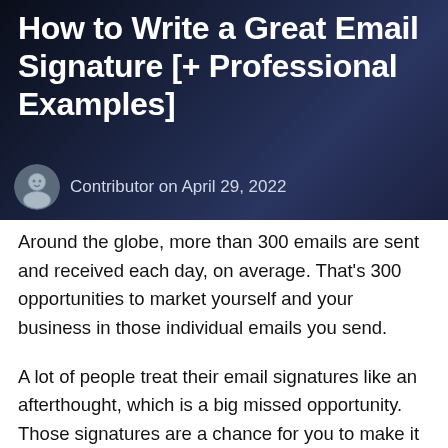How to Write a Great Email Signature [+ Professional Examples]
Contributor on April 29, 2022
Around the globe, more than 300 emails are sent and received each day, on average. That's 300 opportunities to market yourself and your business in those individual emails you send.
A lot of people treat their email signatures like an afterthought, which is a big missed opportunity. Those signatures are a chance for you to make it clear who you are, make it easy for people to reach you, and give people a place to go to find out more — either about you, about your business, or about